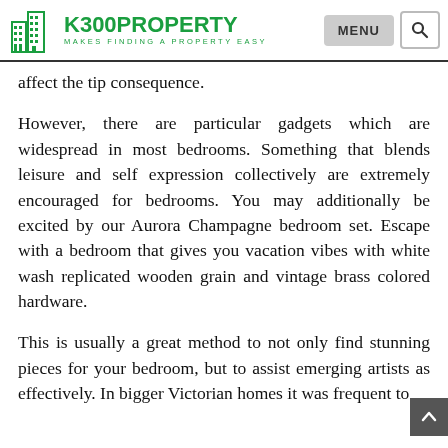K300PROPERTY MAKES FINDING A PROPERTY EASY
affect the tip consequence.
However, there are particular gadgets which are widespread in most bedrooms. Something that blends leisure and self expression collectively are extremely encouraged for bedrooms. You may additionally be excited by our Aurora Champagne bedroom set. Escape with a bedroom that gives you vacation vibes with white wash replicated wooden grain and vintage brass colored hardware.
This is usually a great method to not only find stunning pieces for your bedroom, but to assist emerging artists as effectively. In bigger Victorian homes it was frequent to